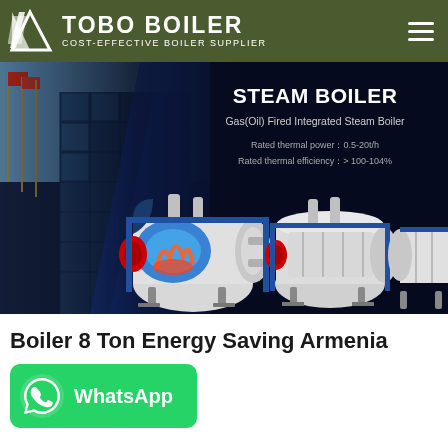TOBO BOILER — COST-EFFECTIVE BOILER SUPPLIER
[Figure (screenshot): Hero banner showing industrial steam boilers with text: STEAM BOILER, Gas(Oil) Fired Integrated Steam Boiler, Rated thermal power: 0.5-20t/h, Rated thermal efficiency: > 100-104%]
Boiler 8 Ton Energy Saving Armenia
[Figure (infographic): WhatsApp button in green with WhatsApp logo icon]
Hot News